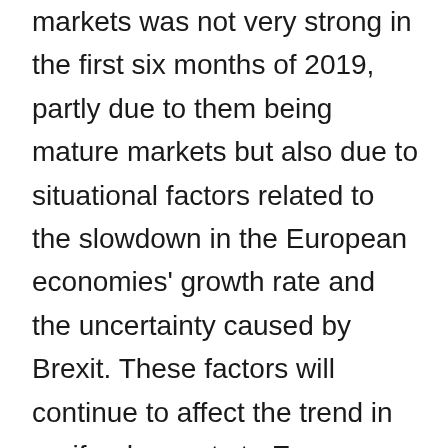markets was not very strong in the first six months of 2019, partly due to them being mature markets but also due to situational factors related to the slowdown in the European economies' growth rate and the uncertainty caused by Brexit. These factors will continue to affect the trend in agrifood exports to European countries over the coming quarters. However, one factor which could help to cushion the European slowdown is the increasing importance of other destinations outside the EU, especially the US, Japan, Switzerland and Morocco and Asian countries in general, particularly China, whose share has gone from 0.3% in 2008 to 3.1% in 2018.